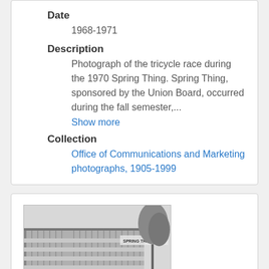Date
1968-1971
Description
Photograph of the tricycle race during the 1970 Spring Thing. Spring Thing, sponsored by the Union Board, occurred during the fall semester,...
Show more
Collection
Office of Communications and Marketing photographs, 1905-1999
[Figure (photo): Black and white photograph of a building with a banner reading 'SPRING THING 1970']